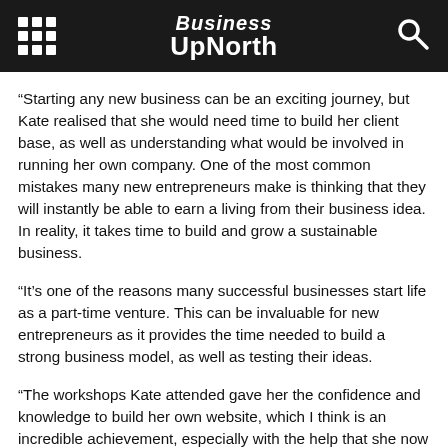Business UpNorth
“Starting any new business can be an exciting journey, but Kate realised that she would need time to build her client base, as well as understanding what would be involved in running her own company. One of the most common mistakes many new entrepreneurs make is thinking that they will instantly be able to earn a living from their business idea. In reality, it takes time to build and grow a sustainable business.
“It’s one of the reasons many successful businesses start life as a part-time venture. This can be invaluable for new entrepreneurs as it provides the time needed to build a strong business model, as well as testing their ideas.
“The workshops Kate attended gave her the confidence and knowledge to build her own website, which I think is an incredible achievement, especially with the help that she now provides for…